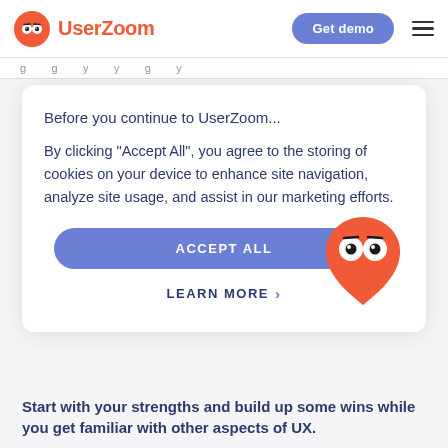[Figure (logo): UserZoom logo with owl icon and orange text]
Get demo
g g y y g y
Before you continue to UserZoom...
By clicking “Accept All”, you agree to the storing of cookies on your device to enhance site navigation, analyze site usage, and assist in our marketing efforts.
ACCEPT ALL
LEARN MORE >
[Figure (illustration): UserZoom owl mascot in orange teardrop/location pin shape]
Start with your strengths and build up some wins while you get familiar with other aspects of UX.